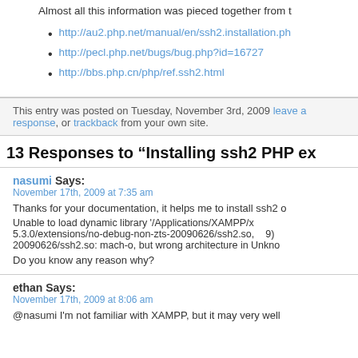Almost all this information was pieced together from t...
http://au2.php.net/manual/en/ssh2.installation.ph...
http://pecl.php.net/bugs/bug.php?id=16727
http://bbs.php.cn/php/ref.ssh2.html
This entry was posted on Tuesday, November 3rd, 2009 ... leave a response, or trackback from your own site.
13 Responses to “Installing ssh2 PHP ex...
nasumi Says:
November 17th, 2009 at 7:35 am
Thanks for your documentation, it helps me to install ssh2 o...
Unable to load dynamic library '/Applications/XAMPP/x... 5.3.0/extensions/no-debug-non-zts-20090626/ssh2.so,  9)... 20090626/ssh2.so: mach-o, but wrong architecture in Unkno...
Do you know any reason why?
ethan Says:
November 17th, 2009 at 8:06 am
@nasumi I'm not familiar with XAMPP, but it may very well...